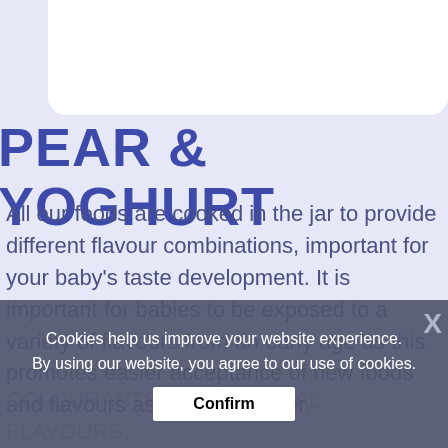PEAR & YOGHURT
All our foods are cooked in the jar to provide different flavour combinations, important for your baby's taste development. It is important for babies to be exposed to a variety of flavours from an early age as this promotes easier acceptance of new foods and flavours as he grows older.

As with all manufactured baby food, all PURITY jarred foods contain NO PRESERVATIVES, COLOURANTS OR ARTIFICIAL FLAVOURS.
Cookies help us improve your website experience. By using our website, you agree to our use of cookies.
Confirm